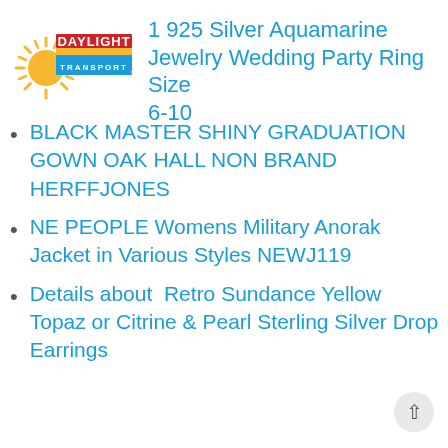[Figure (logo): Daylight Transport logo with sunburst graphic and company name in red/yellow/blue]
1 925 Silver Aquamarine Jewelry Wedding Party Ring Size 6-10
BLACK MASTER SHINY GRADUATION GOWN OAK HALL NON BRAND HERFFJONES
NE PEOPLE Womens Military Anorak Jacket in Various Styles NEWJ119
Details about  Retro Sundance Yellow Topaz or Citrine & Pearl Sterling Silver Drop Earrings